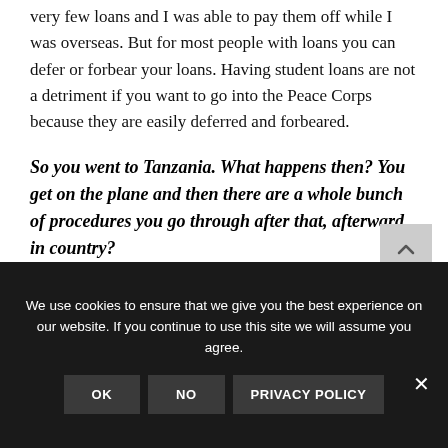very few loans and I was able to pay them off while I was overseas. But for most people with loans you can defer or forbear your loans. Having student loans are not a detriment if you want to go into the Peace Corps because they are easily deferred and forbeared.
So you went to Tanzania. What happens then? You get on the plane and then there are a whole bunch of procedures you go through after that, afterward, in country?
Kelly:  Yep, actually it starts before you even leave
We use cookies to ensure that we give you the best experience on our website. If you continue to use this site we will assume you agree.